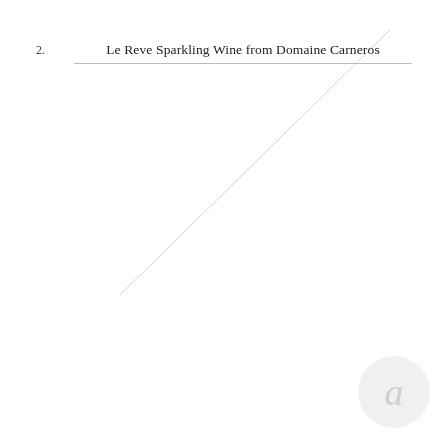[Figure (illustration): A diagonal line drawn from lower-left to upper-right across a white background, representing a placeholder image area.]
1. Corkcicle Champagne Tumbler
2. Le Reve Sparkling Wine from Domaine Carneros
3. Birdies Slippers
4. Gold Initial Wine Cork
5. Gucci Lion Head Ring